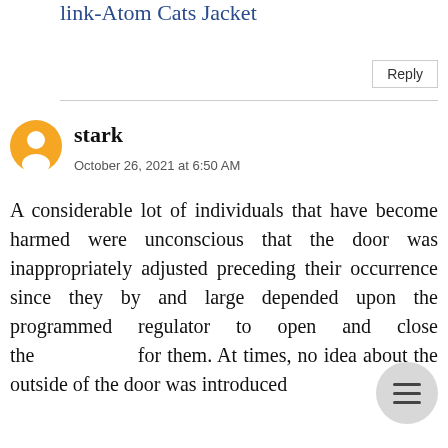link-Atom Cats Jacket
Reply
stark
October 26, 2021 at 6:50 AM
A considerable lot of individuals that have become harmed were unconscious that the door was inappropriately adjusted preceding their occurrence since they by and large depended upon the programmed regulator to open and close the for them. At times, no idea about the outside of the door was introduced